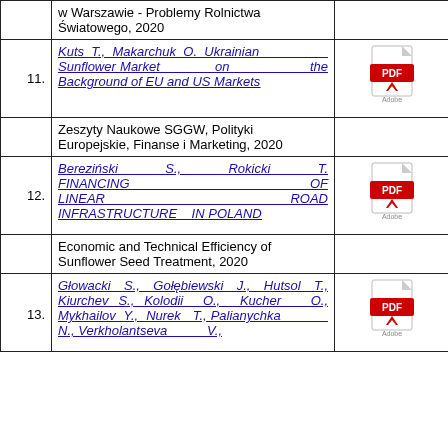| # | Title / Authors | PDF |
| --- | --- | --- |
|  | w Warszawie - Problemy Rolnictwa Światowego, 2020 |  |
| 11. | Kuts T., Makarchuk O. Ukrainian Sunflower Market on the Background of EU and US Markets | PDF |
|  | Zeszyty Naukowe SGGW, Polityki Europejskie, Finanse i Marketing, 2020 |  |
| 12. | Bereziński S., Rokicki T. FINANCING OF LINEAR ROAD INFRASTRUCTURE IN POLAND | PDF |
|  | Economic and Technical Efficiency of Sunflower Seed Treatment, 2020 |  |
| 13. | Głowacki S., Gołębiewski J., Hutsol T., Kiurchev S., Kolodii O., Kucher O., Mykhailov Y., Nurek T., Palianychka N., Verkholantseva V., | PDF |